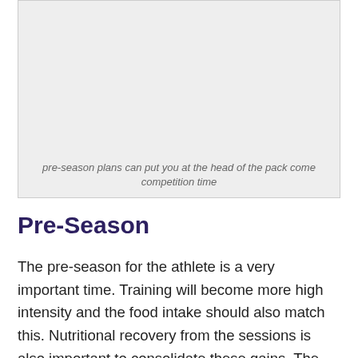[Figure (photo): A light grey placeholder image box representing a pre-season sports/training photo.]
pre-season plans can put you at the head of the pack come competition time
Pre-Season
The pre-season for the athlete is a very important time. Training will become more high intensity and the food intake should also match this. Nutritional recovery from the sessions is also important to consolidate these gains. The pre-season is the time to test out the nutrition plans during the high-intensity training sessions and trial games.